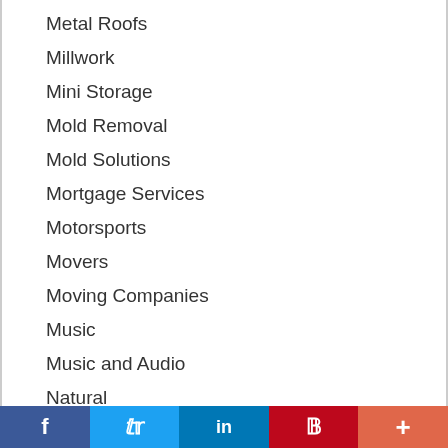Metal Roofs
Millwork
Mini Storage
Mold Removal
Mold Solutions
Mortgage Services
Motorsports
Movers
Moving Companies
Music
Music and Audio
Natural
Nature Parks
Nightlife